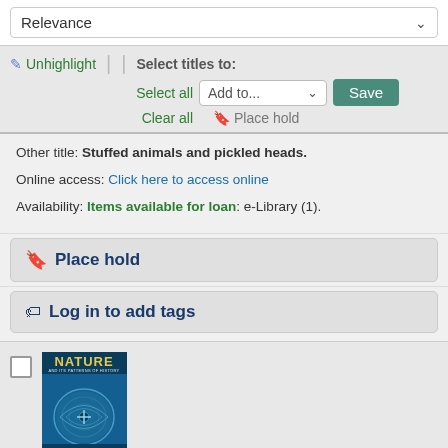Relevance (dropdown)
Unhighlight | Select titles to: Select all Add to... Save Clear all Place hold
Other title: Stuffed animals and pickled heads.
Online access: Click here to access online
Availability: Items available for loan: e-Library (1).
Place hold
Log in to add tags
[Figure (illustration): Book cover for 'Nature' by Geerat J. Vermeij, showing a blue illustrated shell/fossil on the cover]